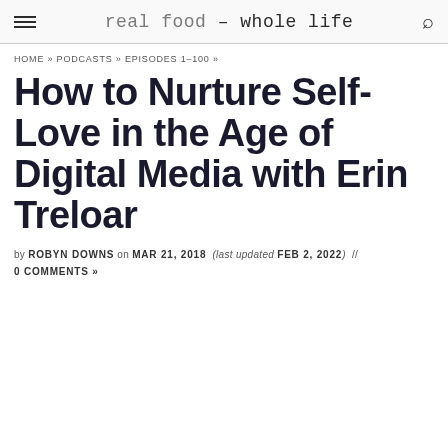real food – whole life
HOME » PODCASTS » EPISODES 1–100 »
How to Nurture Self-Love in the Age of Digital Media with Erin Treloar
by ROBYN DOWNS on MAR 21, 2018 (last updated FEB 2, 2022) // 0 COMMENTS »